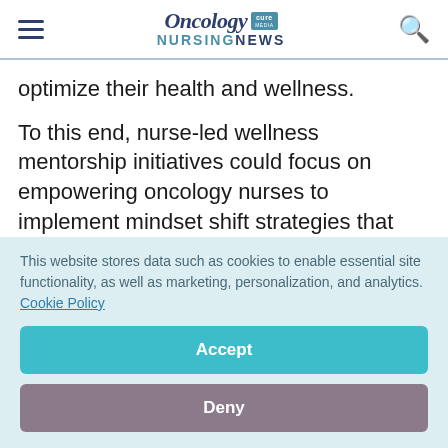Oncology Nursing News
optimize their health and wellness.
To this end, nurse-led wellness mentorship initiatives could focus on empowering oncology nurses to implement mindset shift strategies that will transform their response to stressors and optimize their personal health and wellness.
This website stores data such as cookies to enable essential site functionality, as well as marketing, personalization, and analytics. Cookie Policy
Accept
Deny